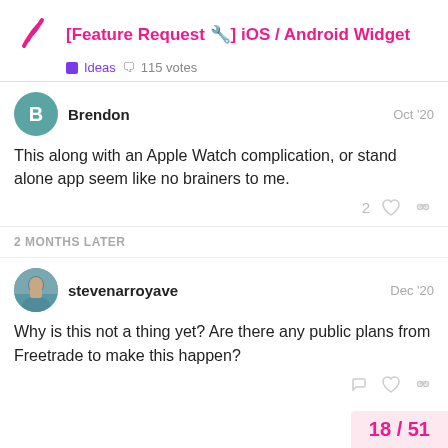[Feature Request 🔧] iOS / Android Widget — Ideas · 115 votes
Brendon — Oct '20
This along with an Apple Watch complication, or stand alone app seem like no brainers to me.
2 MONTHS LATER
stevenarroyave — Dec '20
Why is this not a thing yet? Are there any public plans from Freetrade to make this happen?
18 / 51